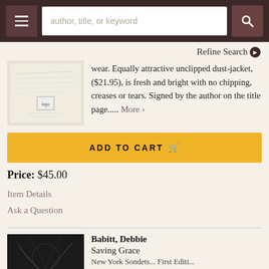author, title, or keyword [search bar with menu and search buttons]
Refine Search
[Figure (photo): Book cover thumbnail showing a handwritten page with a small publisher logo]
wear. Equally attractive unclipped dust-jacket, ($21.95), is fresh and bright with no chipping, creases or tears. Signed by the author on the title page..... More >
ADD TO CART
Price: $45.00
Item Details
Ask a Question
[Figure (photo): Book cover thumbnail for 'Saving Grace' showing dark tree branch imagery with text SAVING at bottom]
Babitt, Debbie
Saving Grace
New York Sondets... First Editi...